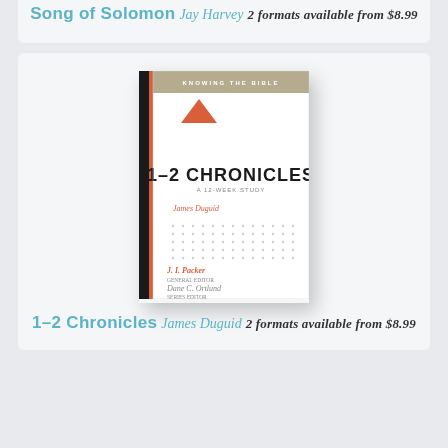Song of Solomon
Jay Harvey
2 formats available from $8.99
[Figure (photo): Book cover of '1–2 Chronicles: A 12-Week Study' by James Duguid, from the Knowing the Bible series. Features an orange/red triangle logo, white background, dotted grid pattern, and names J. I. Packer and Dane C. Ortlund at the bottom.]
1–2 Chronicles
James Duguid
2 formats available from $8.99